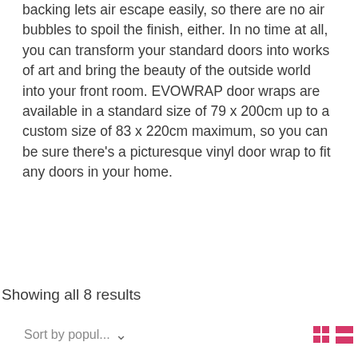backing lets air escape easily, so there are no air bubbles to spoil the finish, either. In no time at all, you can transform your standard doors into works of art and bring the beauty of the outside world into your front room. EVOWRAP door wraps are available in a standard size of 79 x 200cm up to a custom size of 83 x 220cm maximum, so you can be sure there's a picturesque vinyl door wrap to fit any doors in your home.
Showing all 8 results
Sort by popul...